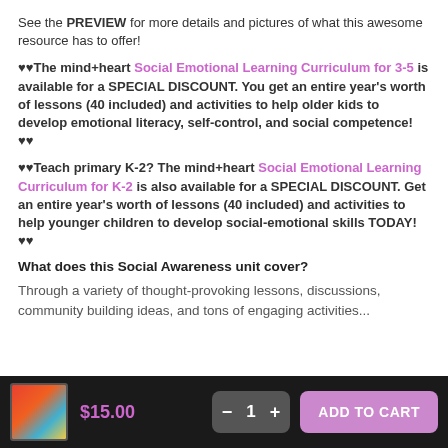See the PREVIEW for more details and pictures of what this awesome resource has to offer!
♥♥The mind+heart Social Emotional Learning Curriculum for 3-5 is available for a SPECIAL DISCOUNT. You get an entire year's worth of lessons (40 included) and activities to help older kids to develop emotional literacy, self-control, and social competence! ♥♥
♥♥Teach primary K-2? The mind+heart Social Emotional Learning Curriculum for K-2 is also available for a SPECIAL DISCOUNT. Get an entire year's worth of lessons (40 included) and activities to help younger children to develop social-emotional skills TODAY! ♥♥
What does this Social Awareness unit cover?
Through a variety of thought-provoking lessons, discussions, community building ideas, and tons of engaging activities...
$15.00  −  1  +  ADD TO CART